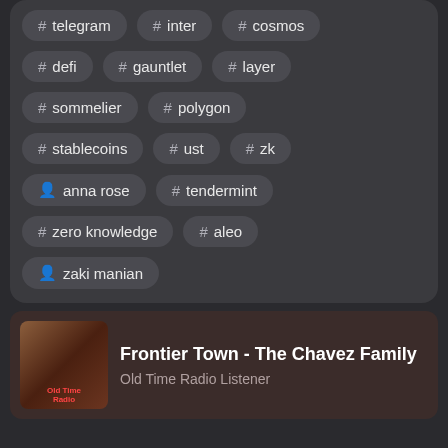# telegram
# inter
# cosmos
# defi
# gauntlet
# layer
# sommelier
# polygon
# stablecoins
# ust
# zk
anna rose
# tendermint
# zero knowledge
# aleo
zaki manian
Frontier Town - The Chavez Family
Old Time Radio Listener